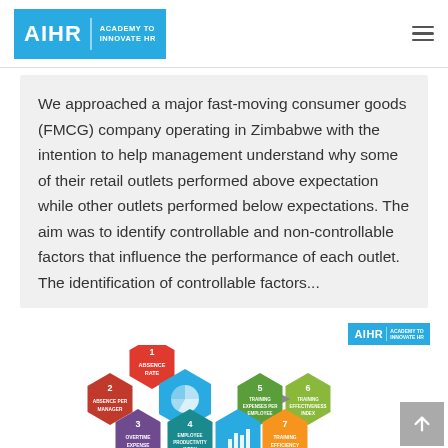AIHR | ACADEMY TO INNOVATE HR
We approached a major fast-moving consumer goods (FMCG) company operating in Zimbabwe with the intention to help management understand why some of their retail outlets performed above expectation while other outlets performed below expectations. The aim was to identify controllable and non-controllable factors that influence the performance of each outlet. The identification of controllable factors...
[Figure (infographic): Hexagonal infographic showing numbered HR metrics: 1 Absence Rate (red), 2 Absence per Manager (red), 3 Overtime Expense (purple), 4 Employee Productivity Index (teal), 5 Training Expenses per Employee (green), 6 Training Effectiveness Index (green), 7 Training Efficiency (orange). A pie chart icon and bar chart icon are shown in the center hexagons.]